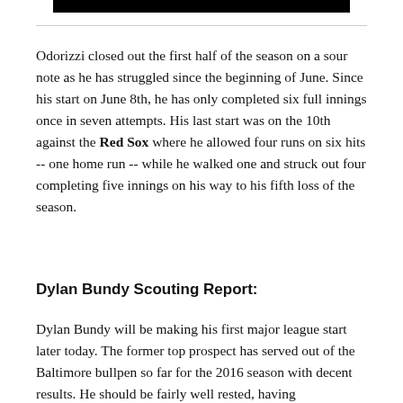[Figure (other): Black bar graphic at the top of the page]
Odorizzi closed out the first half of the season on a sour note as he has struggled since the beginning of June. Since his start on June 8th, he has only completed six full innings once in seven attempts. His last start was on the 10th against the Red Sox where he allowed four runs on six hits -- one home run -- while he walked one and struck out four completing five innings on his way to his fifth loss of the season.
Dylan Bundy Scouting Report:
Dylan Bundy will be making his first major league start later today. The former top prospect has served out of the Baltimore bullpen so far for the 2016 season with decent results. He should be fairly well rested, having